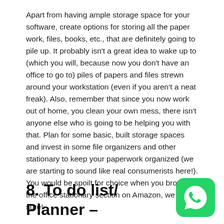Apart from having ample storage space for your software, create options for storing all the paper work, files, books, etc., that are definitely going to pile up. It probably isn't a great idea to wake up to (which you will, because now you don't have an office to go to) piles of papers and files strewn around your workstation (even if you aren't a neat freak). Also, remember that since you now work out of home, you clean your own mess, there isn't anyone else who is going to be helping you with that. Plan for some basic, built storage spaces and invest in some file organizers and other stationary to keep your paperwork organized (we are starting to sound like real consumerists here!). You would be spoilt for choice when you browse the office stationary section on Amazon, we are sure!
8. To do list/ Planner –
[Figure (logo): WhatsApp logo icon — green rounded square with white phone handset inside speech bubble]